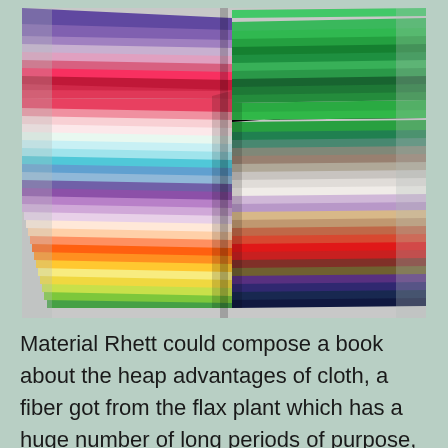[Figure (photo): A stacked arrangement of folded fabric swatches in a wide variety of colors including green, yellow, orange, red, pink, purple, blue, teal, white, and navy, arranged in a fan-like display showing their folded edges.]
Material Rhett could compose a book about the heap advantages of cloth, a fiber got from the flax plant which has a huge number of long periods of purpose, and frequently in warm